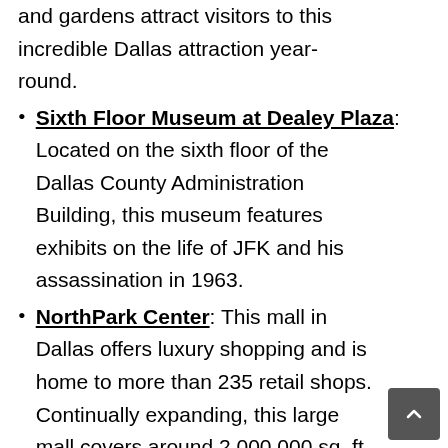and gardens attract visitors to this incredible Dallas attraction year-round.
Sixth Floor Museum at Dealey Plaza: Located on the sixth floor of the Dallas County Administration Building, this museum features exhibits on the life of JFK and his assassination in 1963.
NorthPark Center: This mall in Dallas offers luxury shopping and is home to more than 235 retail shops. Continually expanding, this large mall covers around 2,000,000 sq. ft., which is almost the size of the